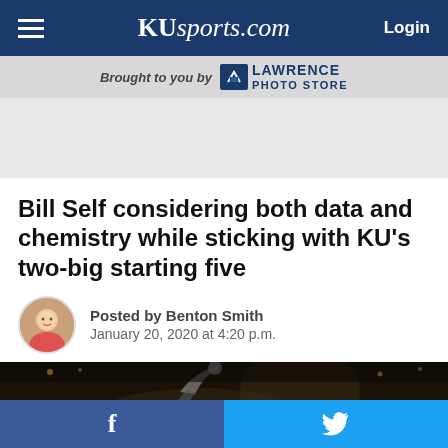KUsports.com Login
Brought to you by LAWRENCE PHOTO STORE
Bill Self considering both data and chemistry while sticking with KU's two-big starting five
Posted by Benton Smith
January 20, 2020 at 4:20 p.m.
[Figure (photo): Basketball player shooting, dark arena background]
[Figure (other): Social media share bar with Facebook and Twitter buttons]